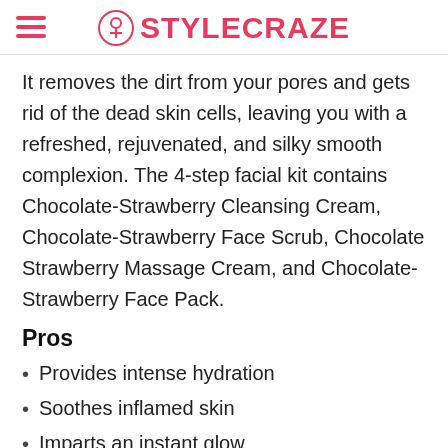STYLECRAZE
It removes the dirt from your pores and gets rid of the dead skin cells, leaving you with a refreshed, rejuvenated, and silky smooth complexion. The 4-step facial kit contains Chocolate-Strawberry Cleansing Cream, Chocolate-Strawberry Face Scrub, Chocolate Strawberry Massage Cream, and Chocolate-Strawberry Face Pack.
Pros
Provides intense hydration
Soothes inflamed skin
Imparts an instant glow
Sufficient quantity for three uses
Plus...